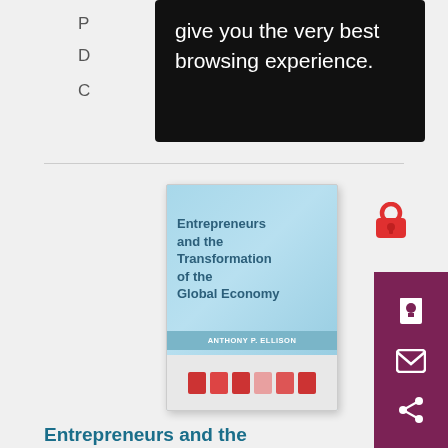[Figure (screenshot): Black popup overlay with text: give you the very best browsing experience.]
[Figure (photo): Book cover: Entrepreneurs and the Transformation of the Global Economy by Anthony P. Ellison. Light blue cover with red squares at bottom.]
Entrepreneurs and the Transformation of the Global Economy
Anthony Patrick Ellison
Anthony Ellison cuts through conventional